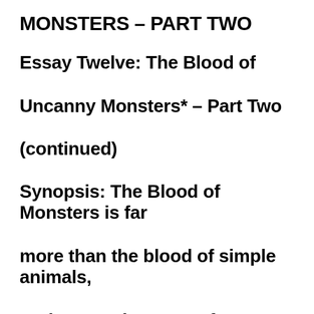MONSTERS – PART TWO
Essay Twelve: The Blood of Uncanny Monsters* – Part Two (continued)
Synopsis: The Blood of Monsters is far more than the blood of simple animals, or the nerveless sap of tree limbs. The